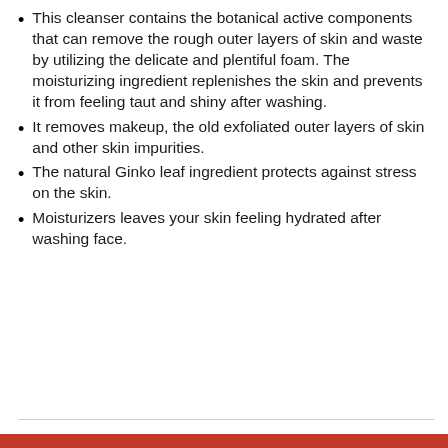This cleanser contains the botanical active components that can remove the rough outer layers of skin and waste by utilizing the delicate and plentiful foam. The moisturizing ingredient replenishes the skin and prevents it from feeling taut and shiny after washing.
It removes makeup, the old exfoliated outer layers of skin and other skin impurities.
The natural Ginko leaf ingredient protects against stress on the skin.
Moisturizers leaves your skin feeling hydrated after washing face.